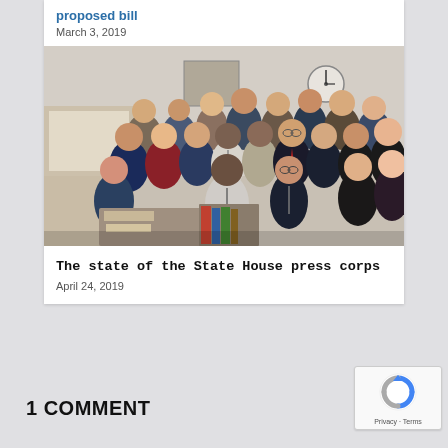proposed bill
March 3, 2019
[Figure (photo): Group photo of approximately 25 people standing together in an office or meeting room, dressed in business and business-casual attire, smiling for the camera. A clock is visible on the wall in the background.]
The state of the State House press corps
April 24, 2019
1 COMMENT